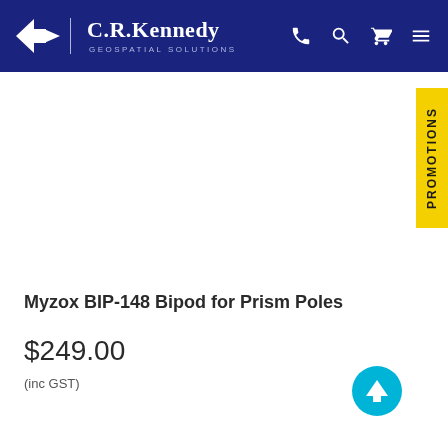[Figure (logo): C.R. Kennedy Geospatial Solutions logo with navigation icons (phone, search, cart, menu) on dark blue header bar]
[Figure (other): Large white blank product image area]
Myzox BIP-148 Bipod for Prism Poles
$249.00
(inc GST)